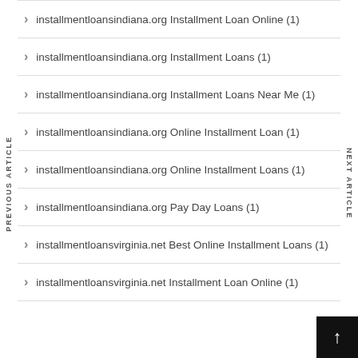installmentloansindiana.org Installment Loan Online (1)
installmentloansindiana.org Installment Loans (1)
installmentloansindiana.org Installment Loans Near Me (1)
installmentloansindiana.org Online Installment Loan (1)
installmentloansindiana.org Online Installment Loans (1)
installmentloansindiana.org Pay Day Loans (1)
installmentloansvirginia.net Best Online Installment Loan (1)
installmentloansvirginia.net Installment Loan Online (1)